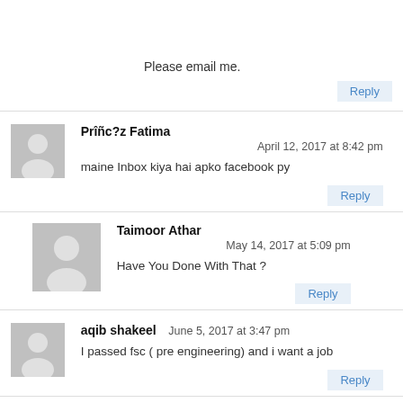Please email me.
Reply
Prîñc?z Fatima
April 12, 2017 at 8:42 pm
maine Inbox kiya hai apko facebook py
Reply
Taimoor Athar
May 14, 2017 at 5:09 pm
Have You Done With That ?
Reply
aqib shakeel
June 5, 2017 at 3:47 pm
I passed fsc ( pre engineering) and i want a job
Reply
Usama sohail